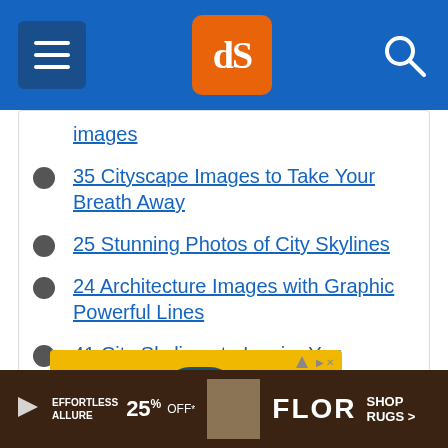dPS (digital photography school)
images
35 Cityscape Images to Take Your Breath Away
25 Stunning Photos of City Skylines
24 Architecture Images with Graphic Powerful Lines
41 City Skylines to Inspire You
[Figure (screenshot): Costa advertisement with yellow background and teal Shop Now button]
[Figure (screenshot): FLOR rugs advertisement with dark brown background, 25% off offer]